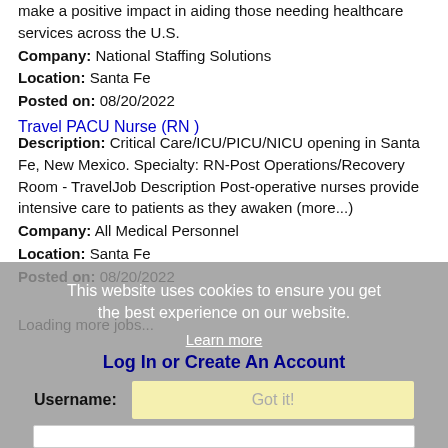make a positive impact in aiding those needing healthcare services across the U.S.
Company: National Staffing Solutions
Location: Santa Fe
Posted on: 08/20/2022
Travel PACU Nurse (RN )
Description: Critical Care/ICU/PICU/NICU opening in Santa Fe, New Mexico. Specialty: RN-Post Operations/Recovery Room - TravelJob Description Post-operative nurses provide intensive care to patients as they awaken (more...)
Company: All Medical Personnel
Location: Santa Fe
Posted on: 08/20/2022
Loading more jobs...
This website uses cookies to ensure you get the best experience on our website.
Learn more
Log In or Create An Account
Username:
Got it!